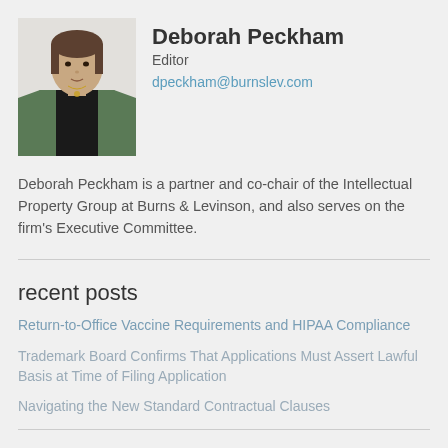[Figure (photo): Profile photo of Deborah Peckham, a woman wearing a dark top and green cardigan with a necklace, against a light background.]
Deborah Peckham
Editor
dpeckham@burnslev.com
Deborah Peckham is a partner and co-chair of the Intellectual Property Group at Burns & Levinson, and also serves on the firm's Executive Committee.
recent posts
Return-to-Office Vaccine Requirements and HIPAA Compliance
Trademark Board Confirms That Applications Must Assert Lawful Basis at Time of Filing Application
Navigating the New Standard Contractual Clauses
stay connected